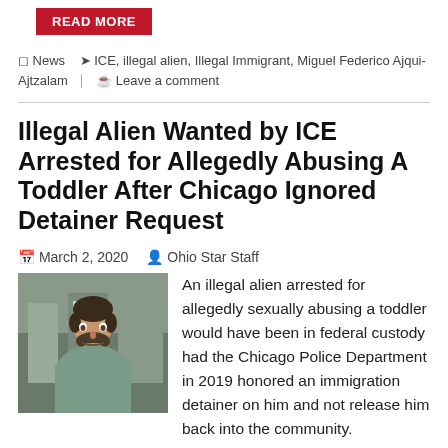READ MORE
News  ICE, illegal alien, Illegal Immigrant, Miguel Federico Ajqui-Ajtzalam  Leave a comment
Illegal Alien Wanted by ICE Arrested for Allegedly Abusing A Toddler After Chicago Ignored Detainer Request
March 2, 2020  Ohio Star Staff
[Figure (photo): Photo of a man with a beard wearing a grey shirt, with a building in the background]
An illegal alien arrested for allegedly sexually abusing a toddler would have been in federal custody had the Chicago Police Department in 2019 honored an immigration detainer on him and not release him back into the community.
Immigration and Customs Enforcement (ICE) lodged an immigration detainer for Christopher Puente, 34-year-old Mexican national living in the U.S. illegally, with the Chicago Police Department in June 2019 upon his arrest for theft.